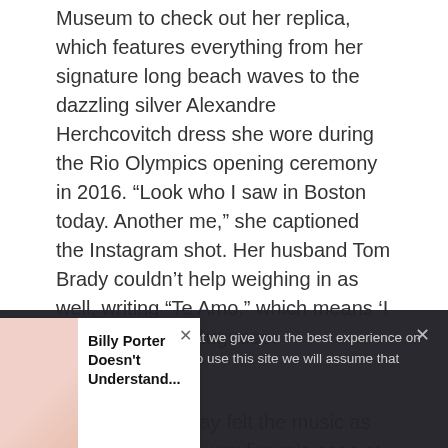Museum to check out her replica, which features everything from her signature long beach waves to the dazzling silver Alexandre Herchcovitch dress she wore during the Rio Olympics opening ceremony in 2016. “Look who I saw in Boston today. Another me,” she captioned the Instagram shot. Her husband Tom Brady couldn’t help weighing in as well, writing “Te Amo,” which means ‘I Love You’ in Portuguese.
[Figure (photo): Broken image placeholder icon]
The lauded deejay felt the music as he mimicked his wax figure’s pose at the unveiling of the new DJ
We use cookies to ensure that we give you the best experience on our website. If you continue to use this site we will assume that you are happy with it.
Billy Porter Doesn’t Understand...